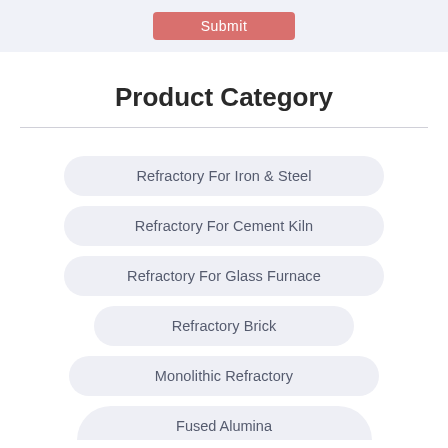[Figure (screenshot): Top section with light blue-grey background showing a pink/red Submit button]
Product Category
Refractory For Iron & Steel
Refractory For Cement Kiln
Refractory For Glass Furnace
Refractory Brick
Monolithic Refractory
Fused Alumina